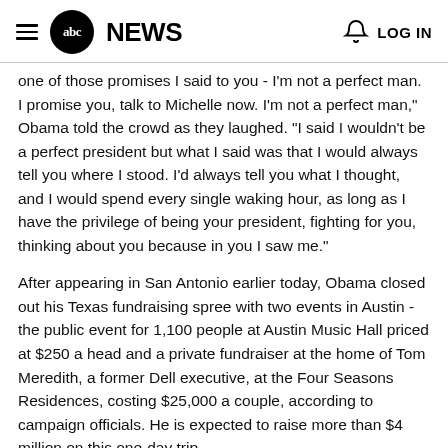abc NEWS  LOG IN
one of those promises I said to you - I'm not a perfect man. I promise you, talk to Michelle now. I'm not a perfect man," Obama told the crowd as they laughed. "I said I wouldn't be a perfect president but what I said was that I would always tell you where I stood. I'd always tell you what I thought, and I would spend every single waking hour, as long as I have the privilege of being your president, fighting for you, thinking about you because in you I saw me."
After appearing in San Antonio earlier today, Obama closed out his Texas fundraising spree with two events in Austin - the public event for 1,100 people at Austin Music Hall priced at $250 a head and a private fundraiser at the home of Tom Meredith, a former Dell executive, at the Four Seasons Residences, costing $25,000 a couple, according to campaign officials. He is expected to raise more than $4 million on this one-day trip.